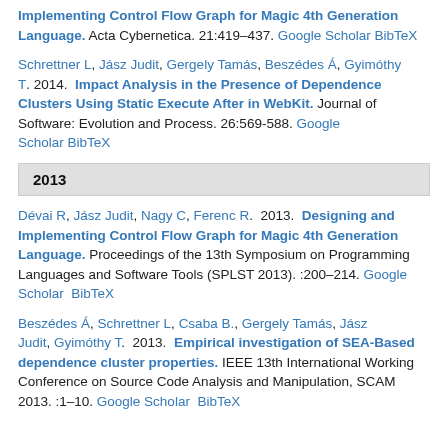Implementing Control Flow Graph for Magic 4th Generation Language. Acta Cybernetica. 21:419–437. Google Scholar BibTeX
Schrettner L, Jász Judit, Gergely Tamás, Beszédes Á, Gyimóthy T. 2014. Impact Analysis in the Presence of Dependence Clusters Using Static Execute After in WebKit. Journal of Software: Evolution and Process. 26:569-588. Google Scholar BibTeX
2013
Dévai R, Jász Judit, Nagy C, Ferenc R. 2013. Designing and Implementing Control Flow Graph for Magic 4th Generation Language. Proceedings of the 13th Symposium on Programming Languages and Software Tools (SPLST 2013). :200–214. Google Scholar BibTeX
Beszédes Á, Schrettner L, Csaba B., Gergely Tamás, Jász Judit, Gyimóthy T. 2013. Empirical investigation of SEA-Based dependence cluster properties. IEEE 13th International Working Conference on Source Code Analysis and Manipulation, SCAM 2013. :1–10. Google Scholar BibTeX